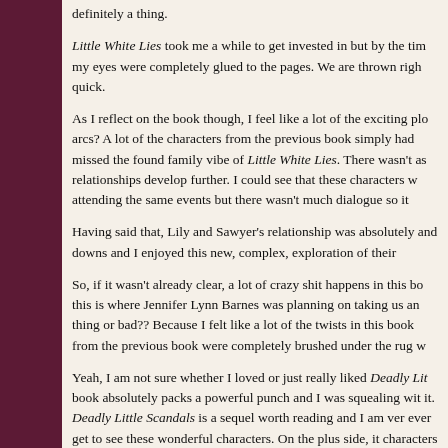definitely a thing.
Little White Lies took me a while to get invested in but by the time my eyes were completely glued to the pages. We are thrown right quick.
As I reflect on the book though, I feel like a lot of the exciting plot arcs? A lot of the characters from the previous book simply had missed the found family vibe of Little White Lies. There wasn't as relationships develop further. I could see that these characters were attending the same events but there wasn't much dialogue so it
Having said that, Lily and Sawyer's relationship was absolutely and downs and I enjoyed this new, complex, exploration of their
So, if it wasn't already clear, a lot of crazy shit happens in this book. this is where Jennifer Lynn Barnes was planning on taking us and thing or bad?? Because I felt like a lot of the twists in this book from the previous book were completely brushed under the rug w
Yeah, I am not sure whether I loved or just really liked Deadly Little book absolutely packs a powerful punch and I was squealing with it. Deadly Little Scandals is a sequel worth reading and I am very ever get to see these wonderful characters. On the plus side, it characters soon!